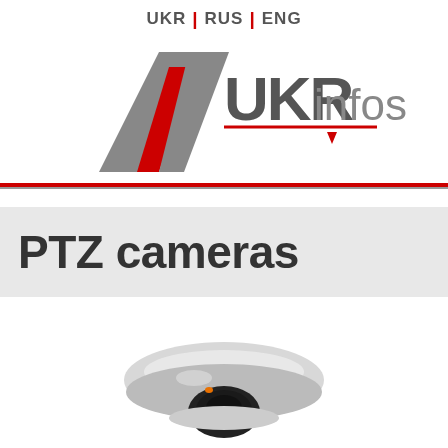[Figure (logo): UKRinfos logo with road/triangle graphic in grey and red, language navigation UKR | RUS | ENG above]
PTZ cameras
[Figure (photo): PTZ dome security camera, silver/chrome housing with dark dome lens, viewed from above at an angle]